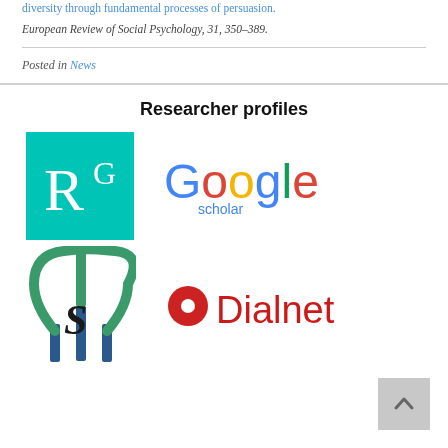diversity through fundamental processes of persuasion. European Review of Social Psychology, 31, 350–389.
Posted in News
Researcher profiles
[Figure (logo): ResearchGate logo: teal/green square with white RG letters]
[Figure (logo): Google Scholar logo: Google text in multicolor with 'scholar' subtitle]
[Figure (logo): Psyche/psi symbol logo in green and teal]
[Figure (logo): Dialnet logo: red circle with white dot and Dialnet text in dark red]